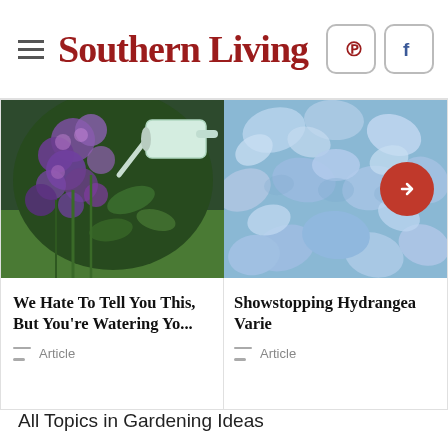Southern Living
[Figure (photo): Purple flowering plants with a white watering can in the background on green grass]
We Hate To Tell You This, But You're Watering Yo...
Article
[Figure (photo): Close-up of light blue hydrangea flower petals with a red circle arrow button overlay]
Showstopping Hydrangea Varie
Article
All Topics in Gardening Ideas